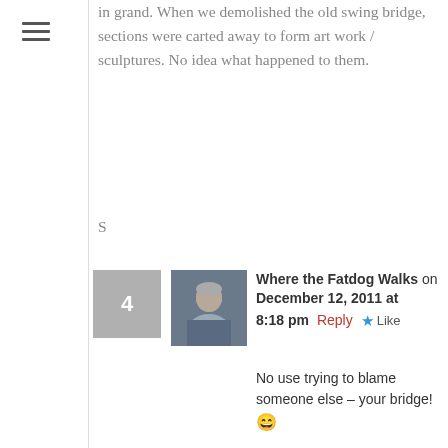in grand. When we demolished the old swing bridge, sections were carted away to form art work / sculptures. No idea what happened to them.
S
Where the Fatdog Walks on December 12, 2011 at 8:18 pm  Reply  ★ Like
No use trying to blame someone else – your bridge! 😄
Didn't know the old one was that shape…don't think I ever saw it – it not being one of ours.